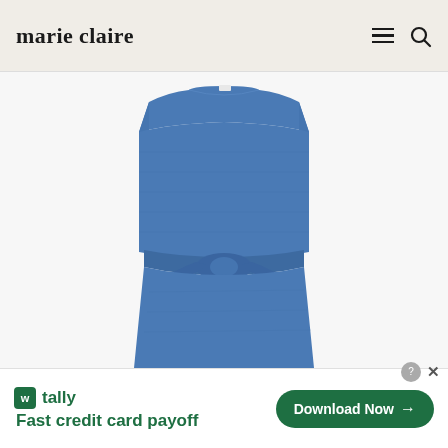marie claire
[Figure (photo): A denim sleeveless dress with a boat neckline and a tied belt at the waist, displayed on a plain light background. The dress is medium-wash blue denim.]
w tally
Fast credit card payoff
Download Now →